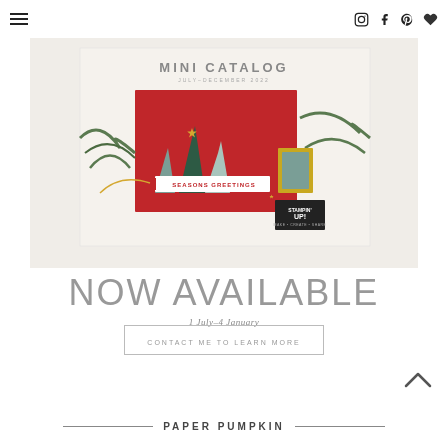Navigation bar with hamburger menu and social icons (Instagram, Facebook, Pinterest, Favorites)
[Figure (photo): Stampin' Up! Mini Catalog July-December 2022 cover showing a Christmas card with decorated trees on red background with 'Seasons Greetings' ribbon and pine branches, alongside the Stampin' Up logo]
NOW AVAILABLE
1 July–4 January
CONTACT ME TO LEARN MORE
PAPER PUMPKIN